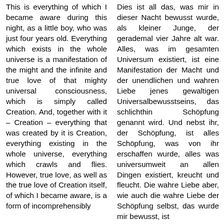This is everything of which I became aware during this night, as a little boy, who was just four years old. Everything which exists in the whole universe is a manifestation of the might and the infinite and true love of that mighty universal consciousness, which is simply called Creation. And, together with it – Creation – everything that was created by it is Creation, everything existing in the whole universe, everything which crawls and flies. However, true love, as well as the true love of Creation itself, of which I became aware, is a form of incomprehensibly
Dies ist all das, was mir in dieser Nacht bewusst wurde, als kleiner Junge, der gerademal vier Jahre alt war. Alles, was im gesamten Universum existiert, ist eine Manifestation der Macht und der unendlichen und wahren Liebe jenes gewaltigen Universalbewusstseins, das schlichthin Schöpfung genannt wird. Und nebst ihr, der Schöpfung, ist alles Schöpfung, was von ihr erschaffen wurde, alles was universumweit an allen Dingen existiert, kreucht und fleucht. Die wahre Liebe aber, wie auch die wahre Liebe der Schöpfung selbst, das wurde mir bewusst, ist